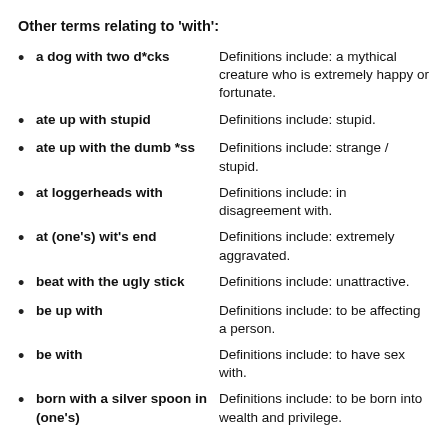Other terms relating to 'with':
a dog with two d*cks
ate up with stupid
ate up with the dumb *ss
at loggerheads with
at (one's) wit's end
beat with the ugly stick
be up with
be with
born with a silver spoon in (one's)